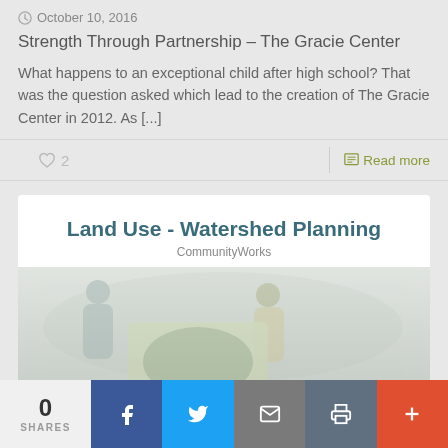October 10, 2016
Strength Through Partnership – The Gracie Center
What happens to an exceptional child after high school? That was the question asked which lead to the creation of The Gracie Center in 2012. As [...]
2  |  Read more
[Figure (photo): Card thumbnail showing 'Land Use - Watershed Planning' heading with CommunityWorks subheading, and two people holding a colorful illustrated map, with a group of people in the background]
0 SHARES | Facebook | Twitter | Email | Print | More